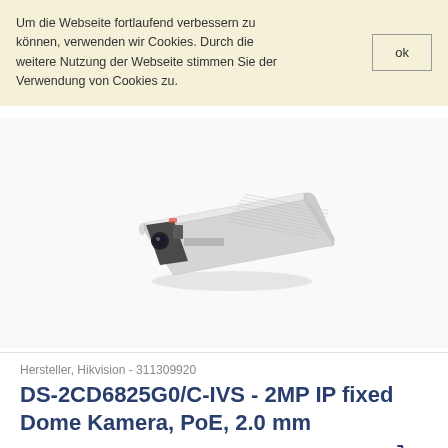Um die Webseite fortlaufend verbessern zu können, verwenden wir Cookies. Durch die weitere Nutzung der Webseite stimmen Sie der Verwendung von Cookies zu.
ok
[Figure (photo): Hikvision DS-2CD6825G0/C-IVS IP camera product photo showing a white rectangular fixed dome camera with dark front panel, viewed at an angle]
Hersteller, Hikvision - 311309920
DS-2CD6825G0/C-IVS - 2MP IP fixed Dome Kamera, PoE, 2.0 mm
Preis auf Anfrage